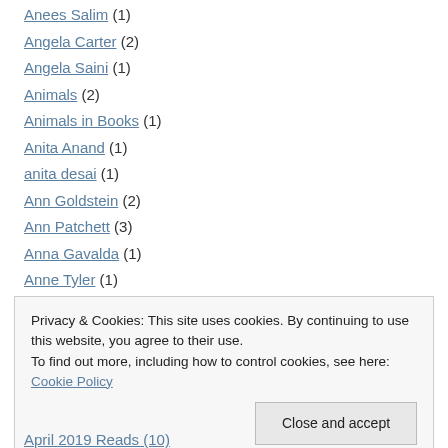Anees Salim (1)
Angela Carter (2)
Angela Saini (1)
Animals (2)
Animals in Books (1)
Anita Anand (1)
anita desai (1)
Ann Goldstein (2)
Ann Patchett (3)
Anna Gavalda (1)
Anne Tyler (1)
Annie Ernaux (1)
Privacy & Cookies: This site uses cookies. By continuing to use this website, you agree to their use. To find out more, including how to control cookies, see here: Cookie Policy
April 2019 Reads (10)